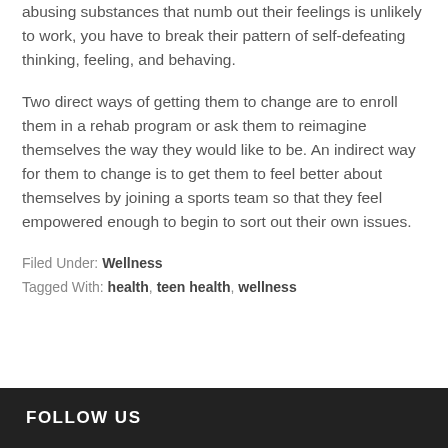abusing substances that numb out their feelings is unlikely to work, you have to break their pattern of self-defeating thinking, feeling, and behaving.
Two direct ways of getting them to change are to enroll them in a rehab program or ask them to reimagine themselves the way they would like to be. An indirect way for them to change is to get them to feel better about themselves by joining a sports team so that they feel empowered enough to begin to sort out their own issues.
Filed Under: Wellness
Tagged With: health, teen health, wellness
FOLLOW US